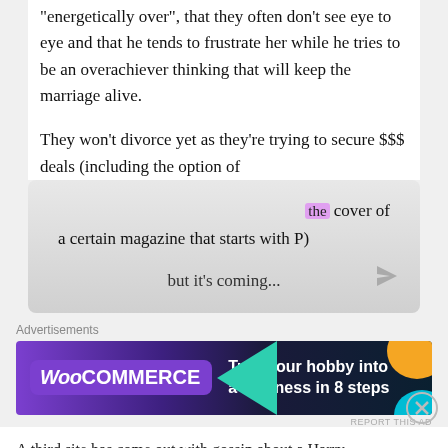“energetically over”, that they often don’t see eye to eye and that he tends to frustrate her while he tries to be an overachiever thinking that will keep the marriage alive.
They won’t divorce yet as they’re trying to secure $$$ deals (including the option of the cover of a certain magazine that starts with P)
but it’s coming...
Advertisements
[Figure (other): WooCommerce advertisement banner: 'Turn your hobby into a business in 8 steps']
REPORT THIS AD
A third site has come out with gossin about a Harry
Advertisements